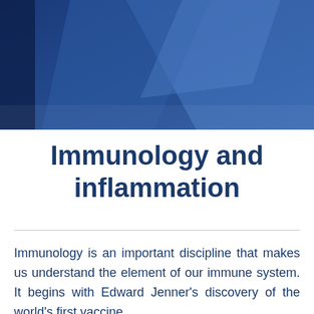[Figure (photo): Dark blue abstract background image with light blue geometric shapes or fabric folds, filling the top portion of the page.]
Immunology and inflammation
Immunology is an important discipline that makes us understand the element of our immune system. It begins with Edward Jenner's discovery of the world's first vaccine,